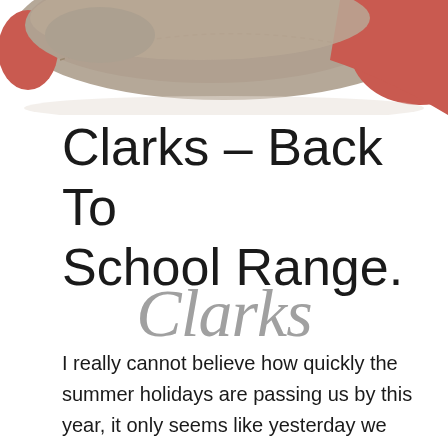[Figure (photo): Partial view of a Clarks shoe, tan/grey suede upper with red/coral accent, photographed from above on a white background. Only the toe and part of the upper are visible, cropped at top of page.]
Clarks – Back To School Range.
[Figure (logo): Clarks brand logo in cursive/script grey text]
I really cannot believe how quickly the summer holidays are passing us by this year, it only seems like yesterday we had finished school, and already we are halfway through!Which means I need to start